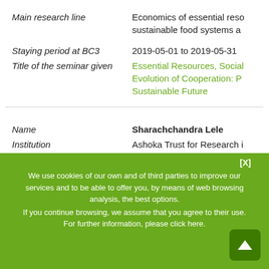Main research line | Economics of essential resources, sustainable food systems a...
Staying period at BC3 | 2019-05-01 to 2019-05-31
Title of the seminar given | Essential Resources, Social Evolution of Cooperation: P... Sustainable Future
Name | Sharachchandra Lele
Institution | Ashoka Trust for Research ... Environment
Position | Doctor
Main research line | Natural sciences, economic...
We use cookies of our own and of third parties to improve our services and to be able to offer you, by means of web browsing analysis, the best options. If you continue browsing, we assume that you agree to their use. For further information, please click here.